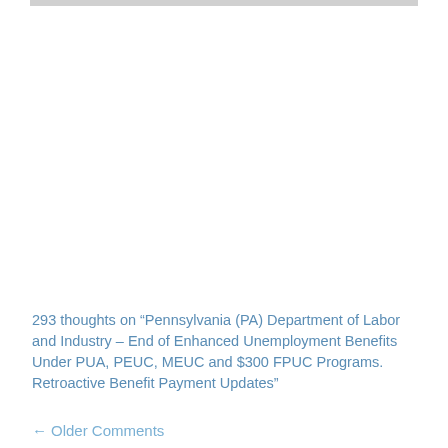293 thoughts on “Pennsylvania (PA) Department of Labor and Industry – End of Enhanced Unemployment Benefits Under PUA, PEUC, MEUC and $300 FPUC Programs. Retroactive Benefit Payment Updates”
← Older Comments